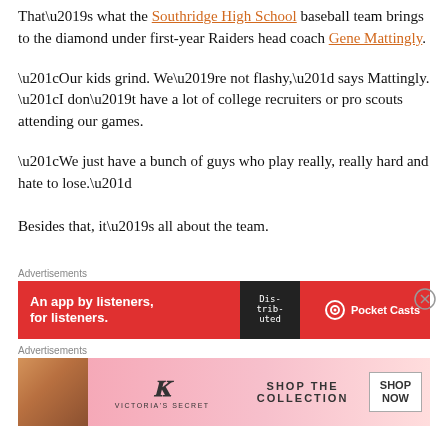That’s what the Southridge High School baseball team brings to the diamond under first-year Raiders head coach Gene Mattingly.
“Our kids grind. We’re not flashy,” says Mattingly. “I don’t have a lot of college recruiters or pro scouts attending our games.
“We just have a bunch of guys who play really, really hard and hate to lose.”
Besides that, it’s all about the team.
[Figure (other): Pocket Casts advertisement banner: red background with text 'An app by listeners, for listeners' and Pocket Casts logo]
[Figure (other): Victoria's Secret advertisement banner: pink gradient background with model photo, VS logo, 'SHOP THE COLLECTION' text and 'SHOP NOW' button]